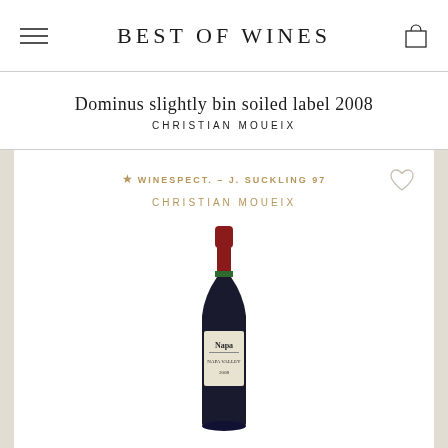BEST OF WINES
Dominus slightly bin soiled label 2008
CHRISTIAN MOUEIX
[Figure (other): Wine product card showing a bottle of Dominus 2008 with rating star, WINESPECT. – J. SUCKLING 97, producer CHRISTIAN MOUEIX, and a heart/wishlist icon]
★ WINESPECT. – J. SUCKLING 97
CHRISTIAN MOUEIX